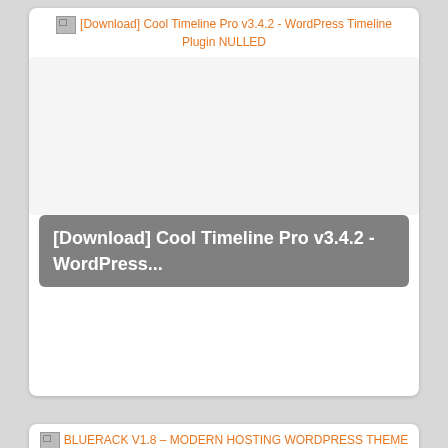[Figure (screenshot): Card 1: [Download] Cool Timeline Pro v3.4.2 - WordPress Timeline Plugin NULLED. Shows a broken image icon and orange link text at top, a white image placeholder area, and a dark grey overlay with white bold text.]
[Figure (screenshot): Card 2: BLUERACK V1.8 – MODERN HOSTING WORDPRESS THEME. Shows a broken image icon and orange link text at top, a white image placeholder area, and a dark grey overlay with white bold text.]
[Figure (screenshot): Card 3: [Download] Financity. Shows a dark blue WordPress theme preview with Financity branding, financial dashboard cards, and partial orange overlay text at the bottom.]